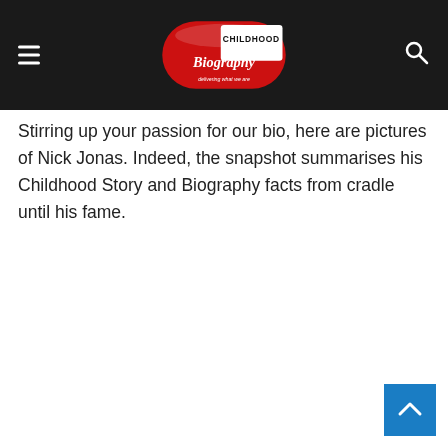Childhood Biography — delivering what we are
Stirring up your passion for our bio, here are pictures of Nick Jonas. Indeed, the snapshot summarises his Childhood Story and Biography facts from cradle until his fame.